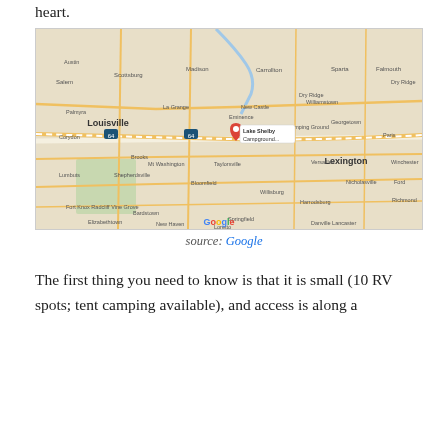heart.
[Figure (map): Google Maps screenshot showing Lake Shelby Campground location in Kentucky, between Louisville and Lexington, with a red pin marker on Lake Shelby Campground.]
source: Google
The first thing you need to know is that it is small (10 RV spots; tent camping available), and access is along a